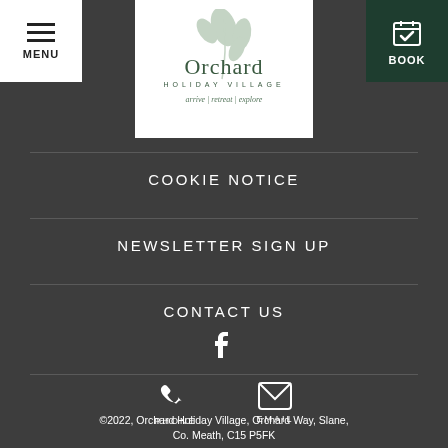[Figure (logo): Orchard Holiday Village logo with leaf illustration and tagline 'arrive | retreat | explore']
COOKIE NOTICE
NEWSLETTER SIGN UP
CONTACT US
[Figure (illustration): Facebook social media icon (f logo) in white]
[Figure (illustration): Phone icon and Email icon with labels PHONE and EMAIL]
©2022, Orchard Holiday Village, Orchard Way, Slane, Co. Meath, C15 P5FK